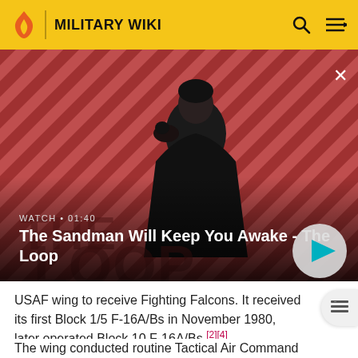MILITARY WIKI
[Figure (screenshot): Video thumbnail for 'The Sandman Will Keep You Awake - The Loop' with a dark figure and raven on a red diagonal-striped background. Overlay shows WATCH • 01:40 label and a play button.]
WATCH • 01:40
The Sandman Will Keep You Awake - The Loop
USAF wing to receive Fighting Falcons. It received its first Block 1/5 F-16A/Bs in November 1980, later operated Block 10 F-16A/Bs.[2][4]
The wing conducted routine Tactical Air Command training and deployments from Nellis with the F-16s